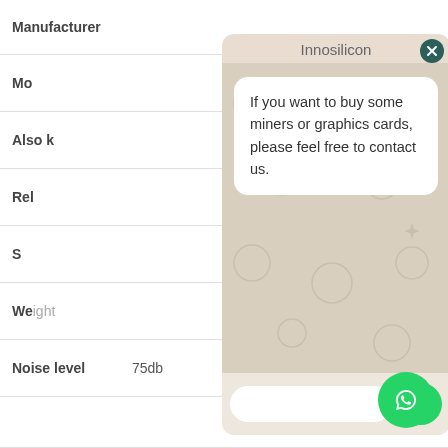| Field | Value |
| --- | --- |
| Manufacturer | Innosilicon |
| Mo... |  |
| Also k... |  |
| Rel... |  |
| S... |  |
| Weight |  |
| Noise level | 75db |
[Figure (screenshot): WhatsApp chat popup overlay with message: 'If you want to buy some miners or graphics cards, please feel free to contact us.' with close button, WhatsApp background pattern, message input field and send button]
Innosilicon
If you want to buy some miners or graphics cards, please feel free to contact us.
75db
Noise level